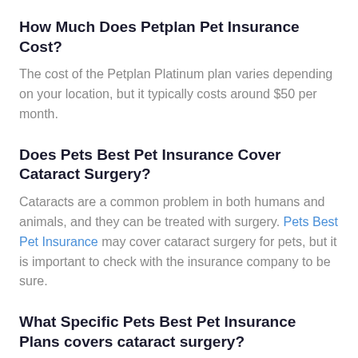How Much Does Petplan Pet Insurance Cost?
The cost of the Petplan Platinum plan varies depending on your location, but it typically costs around $50 per month.
Does Pets Best Pet Insurance Cover Cataract Surgery?
Cataracts are a common problem in both humans and animals, and they can be treated with surgery. Pets Best Pet Insurance may cover cataract surgery for pets, but it is important to check with the insurance company to be sure.
What Specific Pets Best Pet Insurance Plans covers cataract surgery?